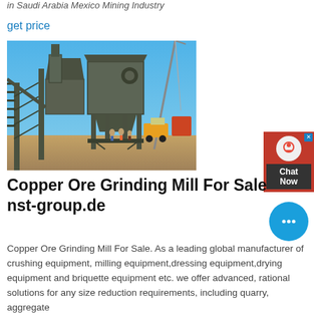in Saudi Arabia Mexico Mining Industry
get price
[Figure (photo): Industrial copper ore grinding mill / crushing plant on a construction site with machinery, metal framework, conveyor belts, and workers visible in background under blue sky.]
Copper Ore Grinding Mill For Sale nst-group.de
Copper Ore Grinding Mill For Sale. As a leading global manufacturer of crushing equipment, milling equipment,dressing equipment,drying equipment and briquette equipment etc. we offer advanced, rational solutions for any size reduction requirements, including quarry, aggregate